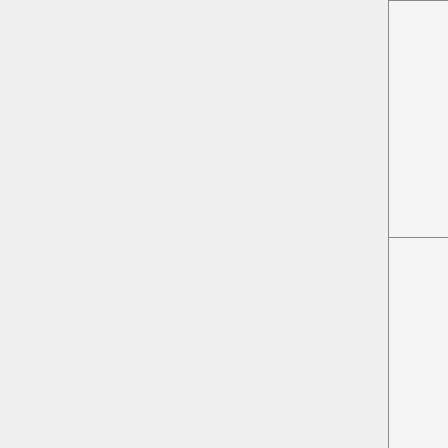| Parameter | Description |
| --- | --- |
| reportMissingFonts | use to hide page). They control panel warning message permanently computer, if even if you t warning message intrusive. |
| missingFontMessage | An HTML string used for the message (when reportMissingFonts is non-zero) replace the default message, and point to your instructions fonts, for example, using the configuration |